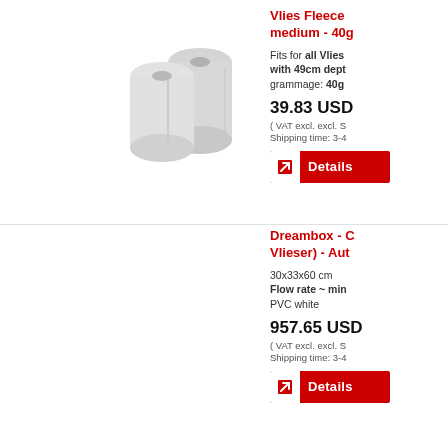[Figure (photo): Two rolls of white fleece filter material]
Vlies Fleece medium - 40g
Fits for all Vlies with 49cm depth grammage: 40g
39.83 USD
( VAT excl. excl. S
Shipping time: 3-4
Details
Dreambox - C Vlieser) - Aut
30x33x60 cm
Flow rate ~ min
PVC white
957.65 USD
( VAT excl. excl. S
Shipping time: 3-4
Details